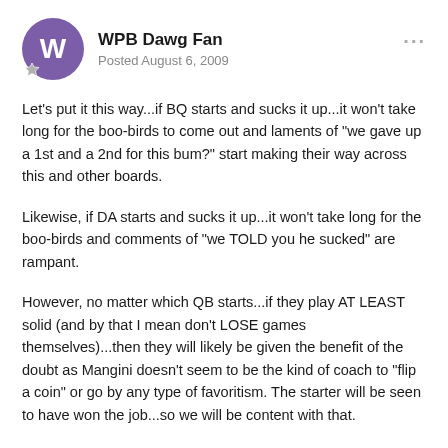WPB Dawg Fan
Posted August 6, 2009
Let's put it this way...if BQ starts and sucks it up...it won't take long for the boo-birds to come out and laments of "we gave up a 1st and a 2nd for this bum?" start making their way across this and other boards.
Likewise, if DA starts and sucks it up...it won't take long for the boo-birds and comments of "we TOLD you he sucked" are rampant.
However, no matter which QB starts...if they play AT LEAST solid (and by that I mean don't LOSE games themselves)...then they will likely be given the benefit of the doubt as Mangini doesn't seem to be the kind of coach to "flip a coin" or go by any type of favoritism. The starter will be seen to have won the job...so we will be content with that.